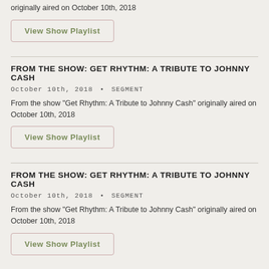originally aired on October 10th, 2018
View Show Playlist
FROM THE SHOW: GET RHYTHM: A TRIBUTE TO JOHNNY CASH
October 10th, 2018 • SEGMENT
From the show "Get Rhythm: A Tribute to Johnny Cash" originally aired on October 10th, 2018
View Show Playlist
FROM THE SHOW: GET RHYTHM: A TRIBUTE TO JOHNNY CASH
October 10th, 2018 • SEGMENT
From the show "Get Rhythm: A Tribute to Johnny Cash" originally aired on October 10th, 2018
View Show Playlist